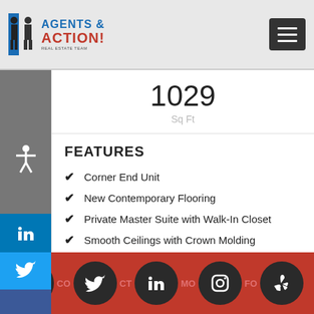Agents in Action! Real Estate Team — navigation header
1029
Sq Ft
FEATURES
Corner End Unit
New Contemporary Flooring
Private Master Suite with Walk-In Closet
Smooth Ceilings with Crown Molding
Spacious Living Room with Large Windows
Social icons footer: Facebook, Twitter, LinkedIn, Instagram, Yelp — CO CT MO FO